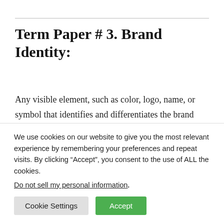Term Paper # 3. Brand Identity:
Any visible element, such as color, logo, name, or symbol that identifies and differentiates the brand from other existing brands is called brand identity. According to, David A. Aaker, “Brand identity should
We use cookies on our website to give you the most relevant experience by remembering your preferences and repeat visits. By clicking “Accept”, you consent to the use of ALL the cookies.
Do not sell my personal information.